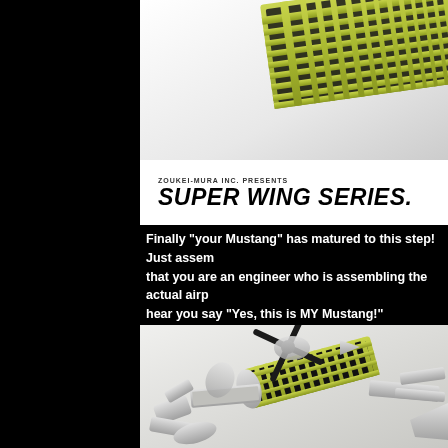[Figure (photo): Close-up photo of a yellow-green aircraft wing framework/skeleton from a model kit, set against a white background]
ZOUKEI-MURA INC. PRESENTS
SUPER WING SERIES.
Finally “your Mustang” has matured to this step! Just assembling it, that you are an engineer who is assembling the actual airplane. We can hear you say “Yes, this is MY Mustang!”
[Figure (photo): Exploded view photo of a P-51 Mustang model airplane kit with yellow-green internal framework visible, silver/gray parts spread around it including propeller, fuselage pieces, wings, and tail components]